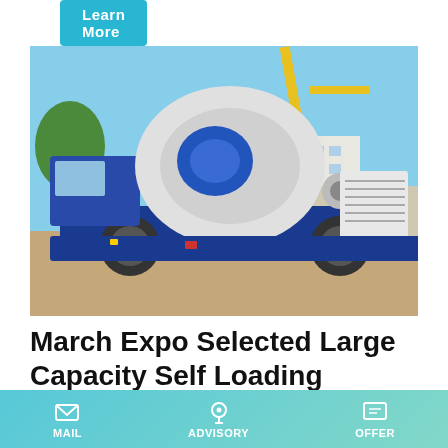Learn More
[Figure (photo): A large capacity self loading concrete mixer truck with a blue cab and white rotating drum, photographed at a construction site with cranes and buildings in the background.]
March Expo Selected Large Capacity Self Loading Concrete
march expo selected large capacity self loading concrete
MAIL   ADVISORY   OFFER